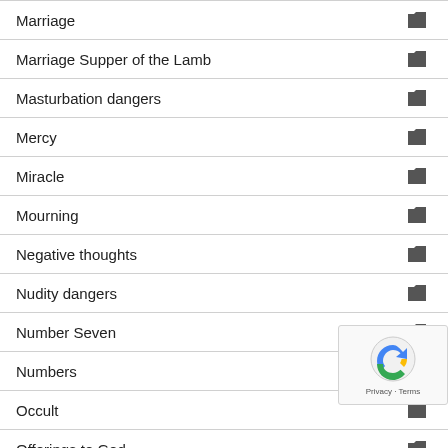Marriage
Marriage Supper of the Lamb
Masturbation dangers
Mercy
Miracle
Mourning
Negative thoughts
Nudity dangers
Number Seven
Numbers
Occult
Offerings to God